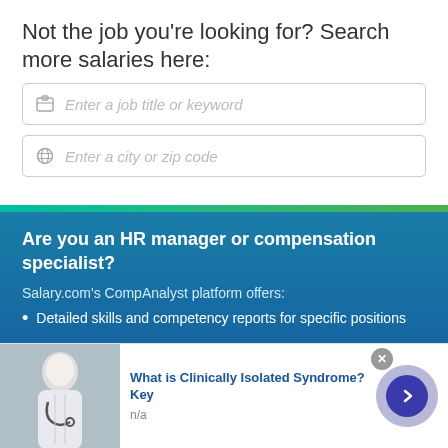Not the job you're looking for? Search more salaries here:
[Figure (screenshot): Search input box with briefcase icon and placeholder text 'Enter a job title or keyword']
[Figure (screenshot): Search input box with globe icon and placeholder text 'Enter a city or zip code']
Are you an HR manager or compensation specialist?
Salary.com's CompAnalyst platform offers:
Detailed skills and competency reports for specific positions
[Figure (infographic): Advertisement bar at bottom: image of doctor with stethoscope, blue link text 'What is Clinically Isolated Syndrome? Key', 'n/a' subtext, close button, and purple arrow circle button]